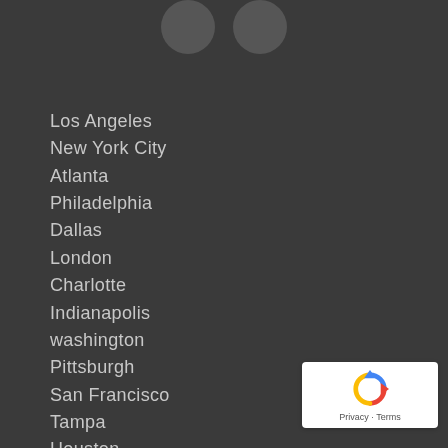[Figure (illustration): Two dark circular social media icon buttons partially visible at top of page]
Los Angeles
New York City
Atlanta
Philadelphia
Dallas
London
Charlotte
Indianapolis
washington
Pittsburgh
San Francisco
Tampa
Houston
Beverly Hills
Miami
[Figure (logo): Google reCAPTCHA badge with Privacy and Terms links]